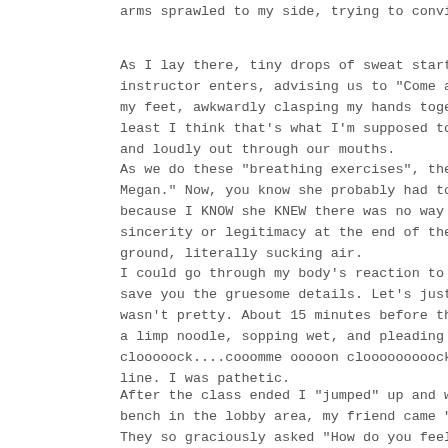arms sprawled to my side, trying to convince mysel
As I lay there, tiny drops of sweat start to trick instructor enters, advising us to "Come alive!" I my feet, awkwardly clasping my hands together and least I think that's what I'm supposed to do...as and loudly out through our mouths.
As we do these "breathing exercises", the instruct Megan." Now, you know she probably had to get this because I KNOW she KNEW there was no way that comm sincerity or legitimacy at the end of these painfu ground, literally sucking air.
I could go through my body's reaction to each of t save you the gruesome details. Let's just say, it wasn't pretty. About 15 minutes before the class e a limp noodle, sopping wet, and pleading in my hea clooooock....cooomme ooooon clooooooooock!!" I coul line. I was pathetic.
After the class ended I "jumped" up and wobbled ou bench in the lobby area, my friend came "bounding" They so graciously asked "How do you feel?" How do even hilarious Brian Regan, that "Everything on m